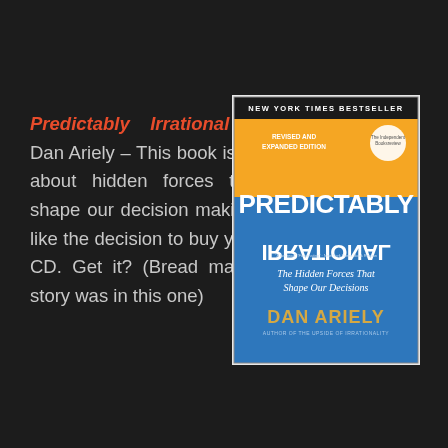Predictably Irrational – Dan Ariely – This book is all about hidden forces that shape our decision making; like the decision to buy your CD. Get it? (Bread maker story was in this one)
[Figure (illustration): Book cover of 'Predictably Irrational – Revised and Expanded Edition' by Dan Ariely. New York Times Bestseller. Orange top section with 'REVISED AND EXPANDED EDITION' text and a circular award badge. Large white text 'PREDICTABLY' and below it mirrored/flipped 'IRRATIONAL'. Blue bottom section with italic text 'The Hidden Forces That Shape Our Decisions', author name 'DAN ARIELY' in gold/yellow, and subtitle 'AUTHOR OF THE UPSIDE OF IRRATIONALITY'.]